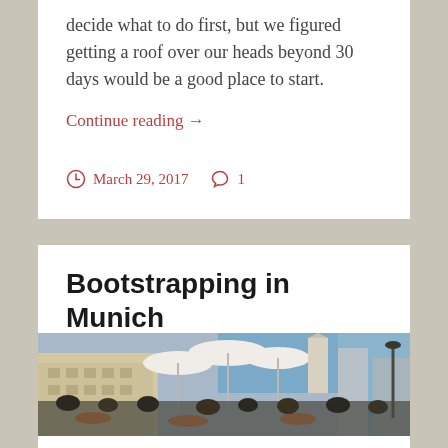decide what to do first, but we figured getting a roof over our heads beyond 30 days would be a good place to start.
Continue reading →
March 29, 2017   1
Bootstrapping in Munich
[Figure (photo): Outdoor cafe scene in Munich with people sitting at tables under white umbrellas, historic buildings and a church tower visible in the background on a sunny day.]